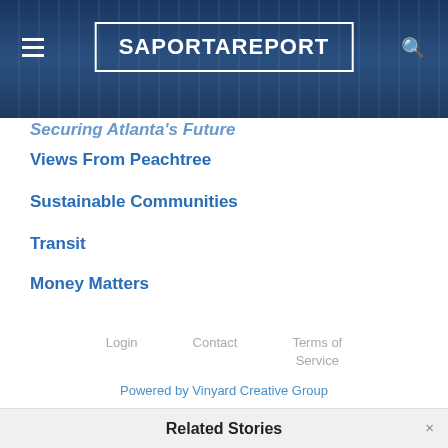SaportaReport
Securing Atlanta's Future
Views From Peachtree
Sustainable Communities
Transit
Money Matters
Login   Contact   Terms of Service
Powered by Vinyard Creative Group
Related Stories
ABL honors Chris Womack, others at CEO luncheon